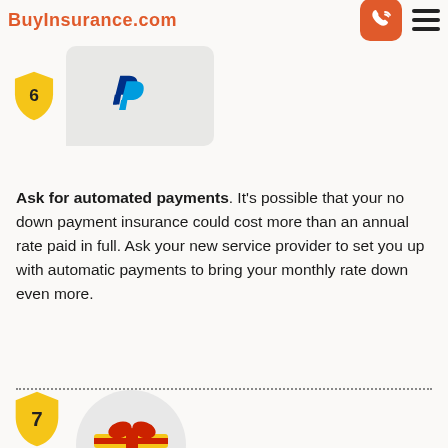BuyInsurance.com
[Figure (illustration): PayPal logo inside a speech bubble with a yellow shield badge numbered 6 to the left]
Ask for automated payments. It's possible that your no down payment insurance could cost more than an annual rate paid in full. Ask your new service provider to set you up with automatic payments to bring your monthly rate down even more.
[Figure (illustration): Yellow shield with number 7 and a gift box illustration inside a grey circle with a hand holding it from below]